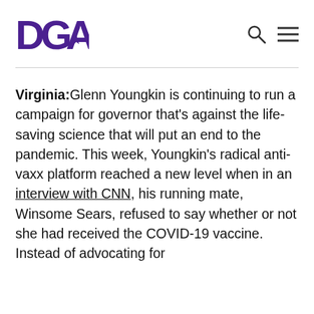DGA
Virginia: Glenn Youngkin is continuing to run a campaign for governor that's against the life-saving science that will put an end to the pandemic. This week, Youngkin's radical anti-vaxx platform reached a new level when in an interview with CNN, his running mate, Winsome Sears, refused to say whether or not she had received the COVID-19 vaccine. Instead of advocating for